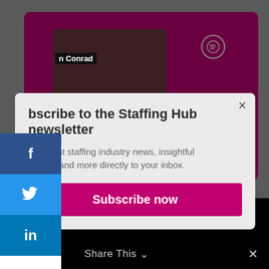[Figure (screenshot): Website screenshot showing a dark maroon podcast/music card in the background with a 'n Conrad' label visible, and a Spotify icon in the top right of the card.]
Subscribe to the Staffing Hub newsletter
the latest staffing industry news, insightful dcasts, and more directly to your inbox.
Subscribe now
Share This
×